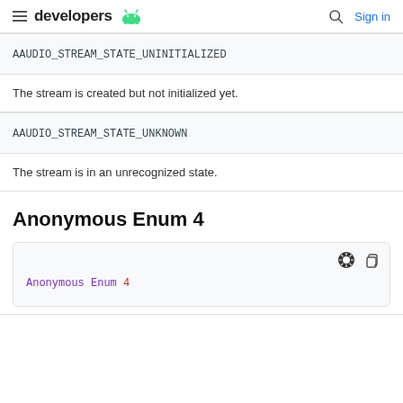developers | Sign in
AAUDIO_STREAM_STATE_UNINITIALIZED
The stream is created but not initialized yet.
AAUDIO_STREAM_STATE_UNKNOWN
The stream is in an unrecognized state.
Anonymous Enum 4
[Figure (screenshot): Code block showing: Anonymous Enum 4 in monospace font with purple and red coloring]